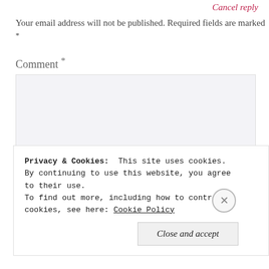Cancel reply
Your email address will not be published. Required fields are marked *
Comment *
Privacy & Cookies:  This site uses cookies. By continuing to use this website, you agree to their use.
To find out more, including how to control cookies, see here: Cookie Policy
Close and accept